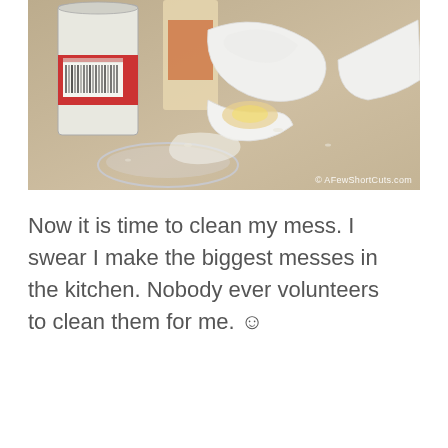[Figure (photo): Kitchen counter with broken eggshells, egg yolk residue, a can with barcode, and a white bowl, messy kitchen scene. Watermark reads: © AFewShortCuts.com]
Now it is time to clean my mess. I swear I make the biggest messes in the kitchen. Nobody ever volunteers to clean them for me. ☺